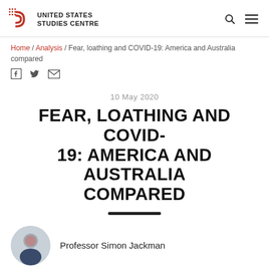UNITED STATES STUDIES CENTRE
Home / Analysis / Fear, loathing and COVID-19: America and Australia compared
10 May 2020
FEAR, LOATHING AND COVID-19: AMERICA AND AUSTRALIA COMPARED
Professor Simon Jackman